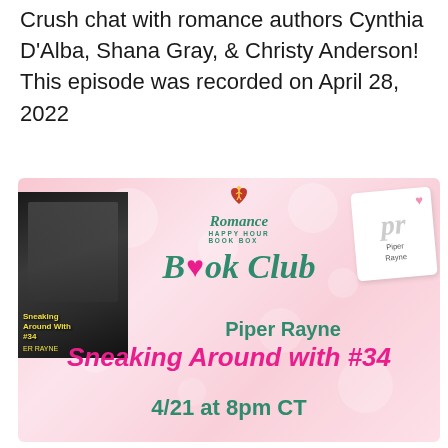Crush chat with romance authors Cynthia D'Alba, Shana Gray, & Christy Anderson! This episode was recorded on April 28, 2022
[Figure (infographic): Romance Happy Hour Book Box Book Club banner featuring Piper Rayne's 'Sneaking Around with #34'. Pink bokeh background, book cover on left, teal cursive Book Club text in center, Piper Rayne logo top right, pink bold italic title and date at bottom.]